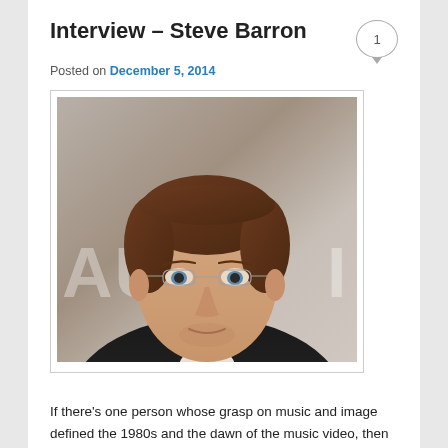Interview – Steve Barron
Posted on December 5, 2014
[Figure (photo): Portrait photo of Steve Barron, a middle-aged man with short brown hair and rimless glasses, wearing a dark jacket and white shirt, photographed in front of a blurred background with letters 'AU' visible.]
If there's one person whose grasp on music and image defined the 1980s and the dawn of the music video, then that person has to be Steve Barron. He's just published his autobiography Egg'n'chips & Billie Jean – A Trip through the eighties. It's a fantastic read about a man who got to work with some of the biggest names in music –